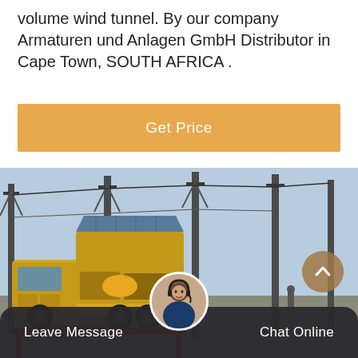volume wind tunnel. By our company Armaturen und Anlagen GmbH Distributor in Cape Town, SOUTH AFRICA .
Get Price
[Figure (photo): A yellow industrial truck/vehicle mounted with specialized equipment (appears to be a mobile power or testing unit) parked at an electrical substation with tall pylons and transmission towers in the background.]
Leave Message
Chat Online